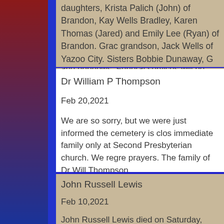daughters, Krista Palich (John) of Brandon, Kay Wells Bradley, Karen Thomas (Jared) and Emily Lee (Ryan) of Brandon. Grandgrandson, Jack Wells of Yazoo City. Sisters Bobbie Dunaway, and nephews. Funeral services will be held at Parkview Church Funeral Home. Visitation will be from 1:30-2:30 with funeral ser
Dr William P Thompson
Feb 20,2021
We are so sorry, but we were just informed the cemetery is closed immediate family only at Second Presbyterian church. We regret prayers. The family of Dr Will Thompson
John Russell Lewis
Feb 10,2021
John Russell Lewis died on Saturday, February 6, 2021. He wa